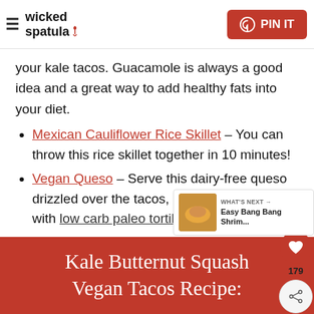wicked spatula | PIN IT
your kale tacos. Guacamole is always a good idea and a great way to add healthy fats into your diet.
Mexican Cauliflower Rice Skillet – You can throw this rice skillet together in 10 minutes!
Vegan Queso – Serve this dairy-free queso drizzled over the tacos, or as an appetizer with low carb paleo tortilla chips.
Kale Butternut Squash Vegan Tacos Recipe: